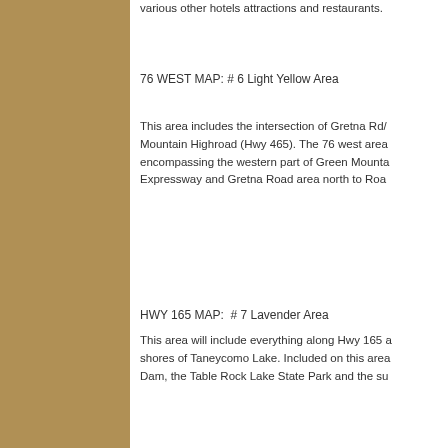various other hotels attractions and restaurants.
76 WEST MAP: # 6 Light Yellow Area
This area includes the intersection of Gretna Rd/Mountain Highroad (Hwy 465). The 76 west area encompassing the western part of Green Mountain Expressway and Gretna Road area north to Roa
HWY 165 MAP:  # 7 Lavender Area
This area will include everything along Hwy 165 a shores of Taneycomo Lake. Included on this area Dam, the Table Rock Lake State Park and the su